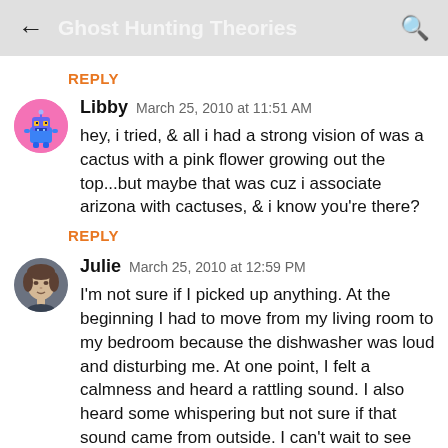← Ghost Hunting Theories 🔍
REPLY
Libby  March 25, 2010 at 11:51 AM
hey, i tried, & all i had a strong vision of was a cactus with a pink flower growing out the top...but maybe that was cuz i associate arizona with cactuses, & i know you're there?
REPLY
Julie  March 25, 2010 at 12:59 PM
I'm not sure if I picked up anything. At the beginning I had to move from my living room to my bedroom because the dishwasher was loud and disturbing me. At one point, I felt a calmness and heard a rattling sound. I also heard some whispering but not sure if that sound came from outside. I can't wait to see what you did and what others picked up.